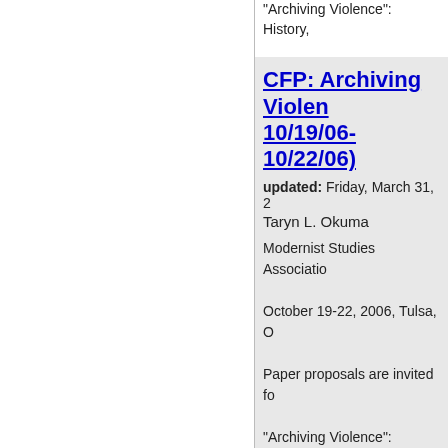"Archiving Violence": History,
CFP: Archiving Violen... 10/19/06-10/22/06)
updated: Friday, March 31, 2...
Taryn L. Okuma
Modernist Studies Association
October 19-22, 2006, Tulsa, O...
Paper proposals are invited fo...
"Archiving Violence": History,...
UPDATE: John Huston...
updated: Friday, March 31, 2...
Tony Tracy